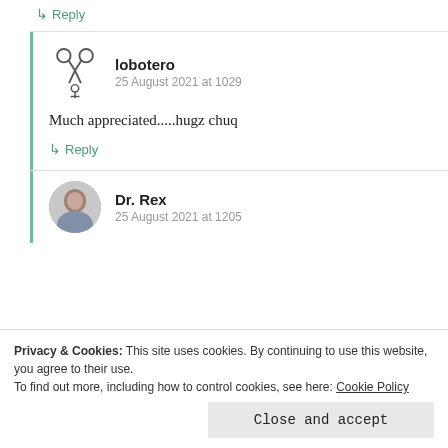↳ Reply
lobotero
25 August 2021 at 1029
Much appreciated.....hugz chuq
↳ Reply
Dr. Rex
25 August 2021 at 1205
Privacy & Cookies: This site uses cookies. By continuing to use this website, you agree to their use.
To find out more, including how to control cookies, see here: Cookie Policy
Close and accept
26 August 2021 at 0046